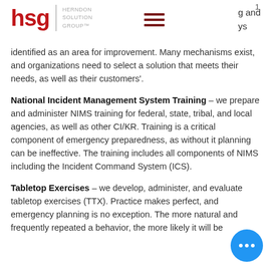hsg | HERNDON SOLUTION GROUP™
g and ys identified as an area for improvement. Many mechanisms exist, and organizations need to select a solution that meets their needs, as well as their customers'.
National Incident Management System Training – we prepare and administer NIMS training for federal, state, tribal, and local agencies, as well as other CI/KR. Training is a critical component of emergency preparedness, as without it planning can be ineffective. The training includes all components of NIMS including the Incident Command System (ICS).
Tabletop Exercises – we develop, administer, and evaluate tabletop exercises (TTX). Practice makes perfect, and emergency planning is no exception. The more natural and frequently repeated a behavior, the more likely it will be